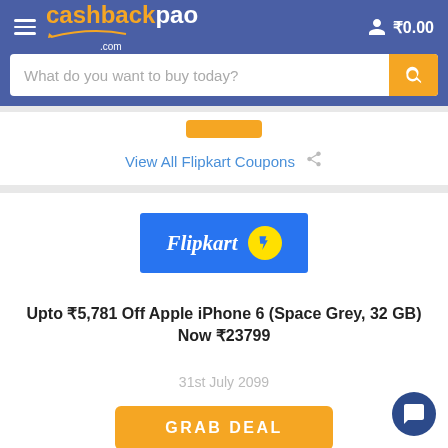cashbackpao.com — ₹0.00
What do you want to buy today?
View All Flipkart Coupons
[Figure (logo): Flipkart logo — blue rectangle with white italic 'Flipkart' text and yellow circular icon with shopping bag]
Upto ₹5,781 Off Apple iPhone 6 (Space Grey, 32 GB) Now ₹23799
31st July 2099
GRAB DEAL